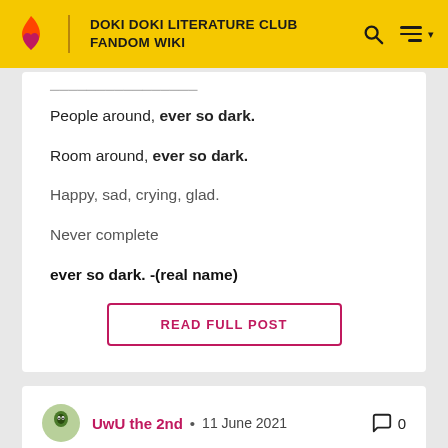DOKI DOKI LITERATURE CLUB FANDOM WIKI
People around, ever so dark.
Room around, ever so dark.
Happy, sad, crying, glad.
Never complete
ever so dark. -(real name)
READ FULL POST
UwU the 2nd • 11 June 2021   0